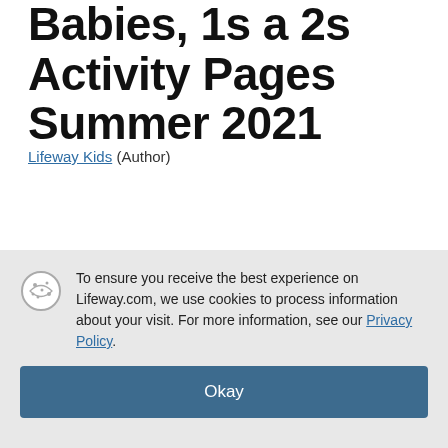Babies, 1s a 2s Activity Pages Summer 2021
Lifeway Kids (Author)
$3.45
Quantity: 1
Add to Cart
Buy Now
To ensure you receive the best experience on Lifeway.com, we use cookies to process information about your visit. For more information, see our Privacy Policy.
Okay